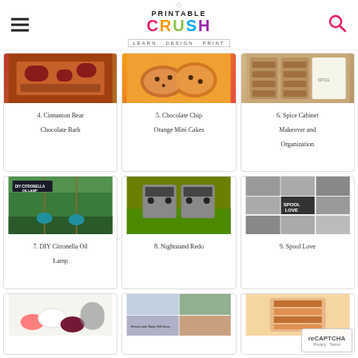Printable Crush — Learn · Design · Print
[Figure (photo): Cinnamon Bear Chocolate Bark food photo]
4. Cinnamon Bear Chocolate Bark
[Figure (photo): Chocolate Chip Orange Mini Cakes food photo]
5. Chocolate Chip Orange Mini Cakes
[Figure (photo): Spice Cabinet Makeover and Organization photo]
6. Spice Cabinet Makeover and Organization
[Figure (photo): DIY Citronella Oil Lamp outdoor photo]
7. DIY Citronella Oil Lamp
[Figure (photo): Nightstand Redo furniture photo]
8. Nightstand Redo
[Figure (photo): Spool Love collage photo]
9. Spool Love
[Figure (photo): Dip or fondue food photo]
[Figure (photo): Homemade Baby Gift Ideas collage photo]
[Figure (photo): Layered chocolate/candy photo]